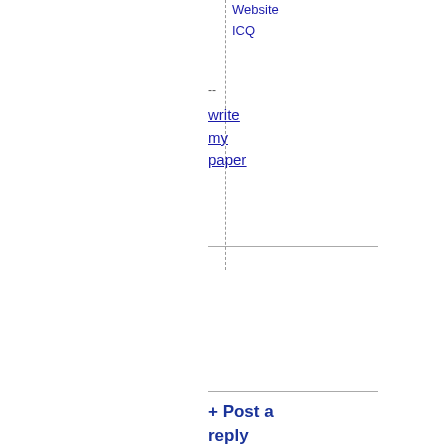Website
ICQ
--
write my paper
+ Post a reply